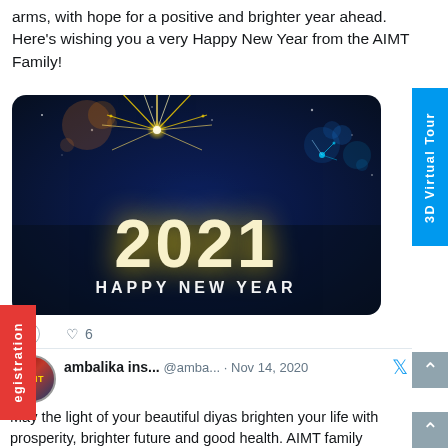arms, with hope for a positive and brighter year ahead. Here's wishing you a very Happy New Year from the AIMT Family!
[Figure (illustration): New Year 2021 greeting image with fireworks on dark blue background, showing '2021 HAPPY NEW YEAR' text in golden glowing letters]
♡ 6
ambalika ins... @amba... · Nov 14, 2020
May the light of your beautiful diyas brighten your life with prosperity, brighter future and good health. AIMT family wishes you a very happy, healthy and safe Diwali! #health #future #happiness #love #diwali